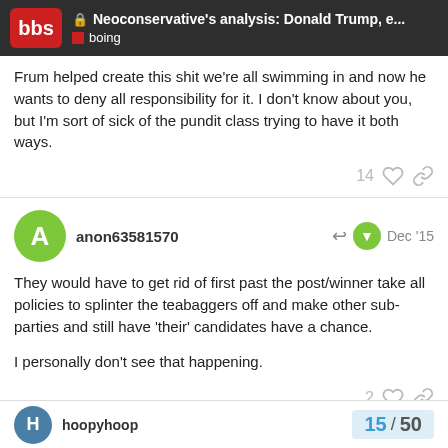Neoconservative's analysis: Donald Trump, e... | boing
Frum helped create this shit we're all swimming in and now he wants to deny all responsibility for it. I don't know about you, but I'm sort of sick of the pundit class trying to have it both ways.
14 ♡ 🔗
anon63581570 Dec '15
They would have to get rid of first past the post/winner take all policies to splinter the teabaggers off and make other sub-parties and still have 'their' candidates have a chance.

I personally don't see that happening.
2 ♡ 🔗
hoopyhoop 15 / 50